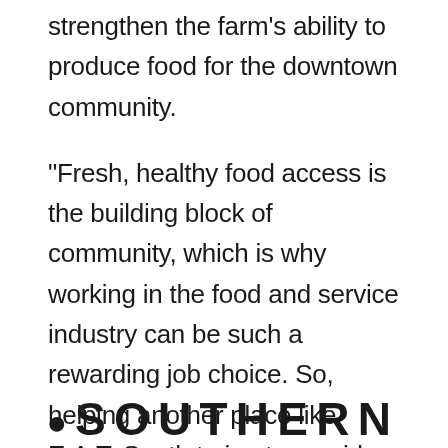strengthen the farm's ability to produce food for the downtown community.
“Fresh, healthy food access is the building block of community, which is why working in the food and service industry can be such a rewarding job choice. So, helping another place like E.A.T. South trying to provide access to healthy food makes our collective community stronger.”
SOUTHERN